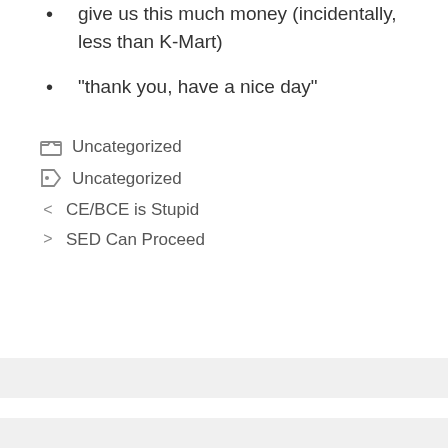give us this much money (incidentally, less than K-Mart)
“thank you, have a nice day”
Uncategorized
Uncategorized
CE/BCE is Stupid
SED Can Proceed